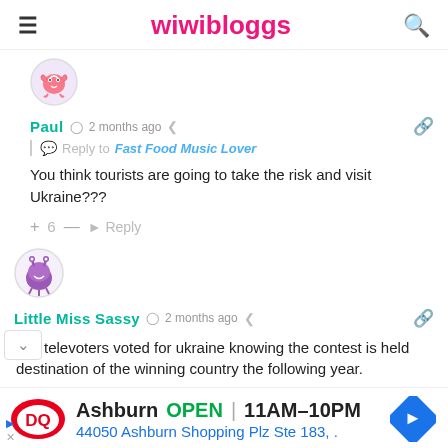wiwibloggs
[Figure (illustration): Avatar icon for user Paul - circular avatar with cartoon character (heart with crab claws)]
Paul  2 months ago
Reply to Fast Food Music Lover
You think tourists are going to take the risk and visit Ukraine???
+6 — Reply
[Figure (illustration): Avatar icon for user Little Miss Sassy - circular avatar with cartoon purple monster character]
Little Miss Sassy  2 months ago
The televoters voted for ukraine knowing the contest is held [at the] destination of the winning country the following year.
[Figure (illustration): Dairy Queen advertisement banner: Ashburn OPEN 11AM-10PM, 44050 Ashburn Shopping Plz Ste 183, with DQ logo and navigation arrow icon]